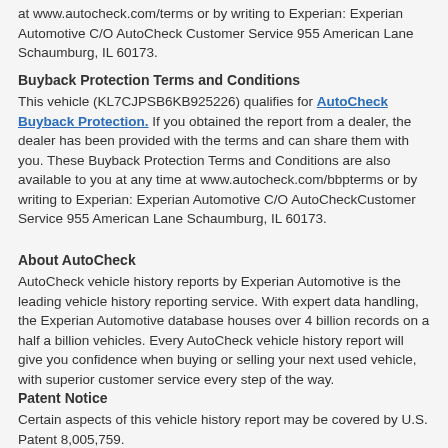at www.autocheck.com/terms or by writing to Experian: Experian Automotive C/O AutoCheck Customer Service 955 American Lane Schaumburg, IL 60173.
Buyback Protection Terms and Conditions
This vehicle (KL7CJPSB6KB925226) qualifies for AutoCheck Buyback Protection. If you obtained the report from a dealer, the dealer has been provided with the terms and can share them with you. These Buyback Protection Terms and Conditions are also available to you at any time at www.autocheck.com/bbpterms or by writing to Experian: Experian Automotive C/O AutoCheckCustomer Service 955 American Lane Schaumburg, IL 60173.
About AutoCheck
AutoCheck vehicle history reports by Experian Automotive is the leading vehicle history reporting service. With expert data handling, the Experian Automotive database houses over 4 billion records on a half a billion vehicles. Every AutoCheck vehicle history report will give you confidence when buying or selling your next used vehicle, with superior customer service every step of the way.
Patent Notice
Certain aspects of this vehicle history report may be covered by U.S. Patent 8,005,759.